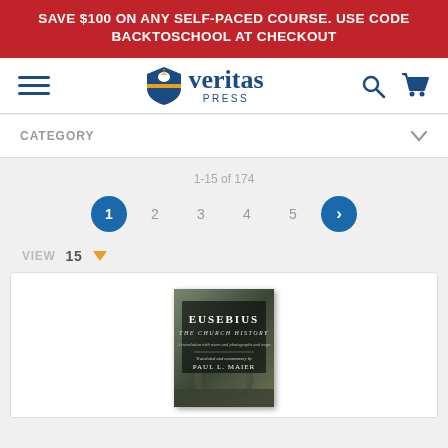SAVE $100 ON ANY SELF-PACED COURSE. USE CODE BACKTOSCHOOL AT CHECKOUT
[Figure (logo): Veritas Press logo with shield icon showing eagle, text 'veritas PRESS']
CATEGORY
1-15 of 174
Pagination: 1 2 3 4 5 >
VIEW 15
[Figure (photo): Book cover: Eusebius The Church History, translated and commentary by Paul L. Maier]